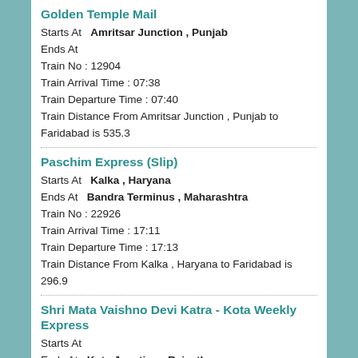Golden Temple Mail
Starts At   Amritsar Junction , Punjab
Ends At
Train No : 12904
Train Arrival Time : 07:38
Train Departure Time : 07:40
Train Distance From Amritsar Junction , Punjab to Faridabad is 535.3
Paschim Express (Slip)
Starts At   Kalka , Haryana
Ends At   Bandra Terminus , Maharashtra
Train No : 22926
Train Arrival Time : 17:11
Train Departure Time : 17:13
Train Distance From Kalka , Haryana to Faridabad is 296.9
Shri Mata Vaishno Devi Katra - Kota Weekly Express
Starts At
Ends At   Kota Junction , Rajasthan
Train No : 19804
Train Arrival Time : 15:14
Train Departure Time : 15:16
Train Distance From to Faridabad is 699.2
Navyug Express
Starts At
Ends At   Mangaluru Central , Karnataka
Train No : ...